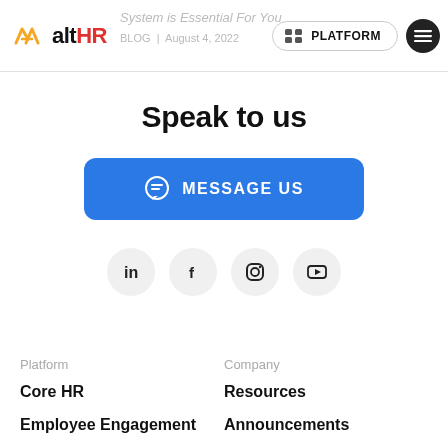altHR | PLATFORM | Blog | August 4, 2022
Speak to us
[Figure (illustration): Blue rounded rectangle button with chat bubble icon and text MESSAGE US]
[Figure (illustration): Four social media icons in grey circles: LinkedIn, Facebook, Instagram, YouTube]
Platform
Company
Core HR
Resources
Employee Engagement
Announcements